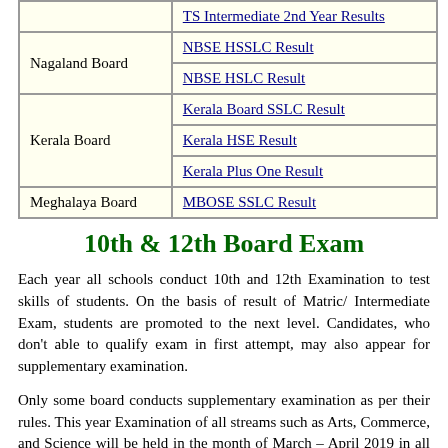| Board | Result Link |
| --- | --- |
|  | TS Intermediate 2nd Year Results |
| Nagaland Board | NBSE HSSLC Result |
| Nagaland Board | NBSE HSLC Result |
| Kerala Board | Kerala Board SSLC Result |
| Kerala Board | Kerala HSE Result |
| Kerala Board | Kerala Plus One Result |
| Meghalaya Board | MBOSE SSLC Result |
10th & 12th Board Exam
Each year all schools conduct 10th and 12th Examination to test skills of students. On the basis of result of Matric/ Intermediate Exam, students are promoted to the next level. Candidates, who don't able to qualify exam in first attempt, may also appear for supplementary examination.
Only some board conducts supplementary examination as per their rules. This year Examination of all streams such as Arts, Commerce, and Science will be held in the month of March – April 2019 in all over the India.
CBSE